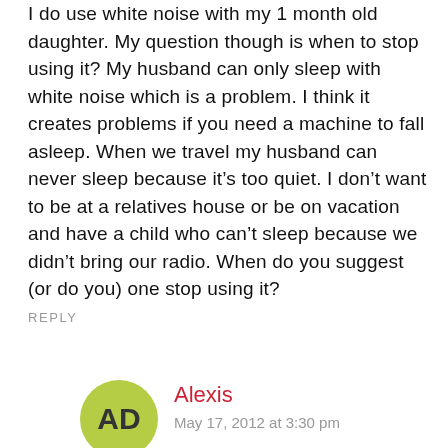I do use white noise with my 1 month old daughter. My question though is when to stop using it? My husband can only sleep with white noise which is a problem. I think it creates problems if you need a machine to fall asleep. When we travel my husband can never sleep because it’s too quiet. I don’t want to be at a relatives house or be on vacation and have a child who can’t sleep because we didn’t bring our radio. When do you suggest (or do you) one stop using it?
REPLY
AD
Alexis
May 17, 2012 at 3:30 pm